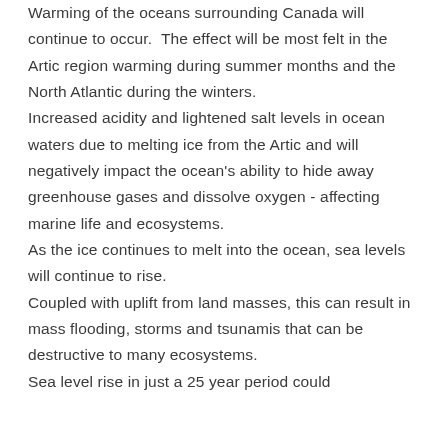Warming of the oceans surrounding Canada will continue to occur. The effect will be most felt in the Artic region warming during summer months and the North Atlantic during the winters.
Increased acidity and lightened salt levels in ocean waters due to melting ice from the Artic and will negatively impact the ocean's ability to hide away greenhouse gases and dissolve oxygen - affecting marine life and ecosystems.
As the ice continues to melt into the ocean, sea levels will continue to rise.
Coupled with uplift from land masses, this can result in mass flooding, storms and tsunamis that can be destructive to many ecosystems.
Sea level rise in just a 25 year period could